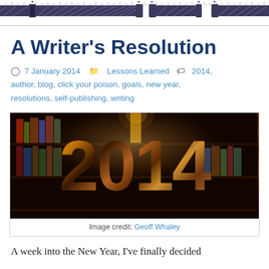[decorative ruler/header bar with measuring tape graphic elements]
A Writer's Resolution
7 January 2014   Lessons Learned   2014, author, blog, click your poison, goals, new year, resolutions, self-publishing, writing
[Figure (illustration): Large bold '2014' text with a library bookshelf photograph clipped inside the letterforms. Image credit: Geoff Whaley]
Image credit: Geoff Whaley
A week into the New Year, I've finally decided